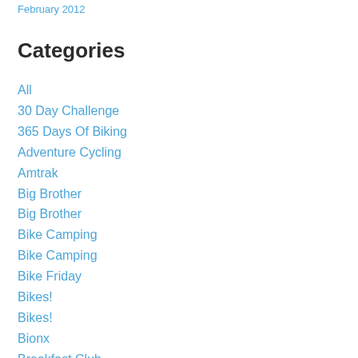February 2012
Categories
All
30 Day Challenge
365 Days Of Biking
Adventure Cycling
Amtrak
Big Brother
Big Brother
Bike Camping
Bike Camping
Bike Friday
Bikes!
Bikes!
Bionx
Breakfast Club
Breezer
Bullitt
Car Freedom